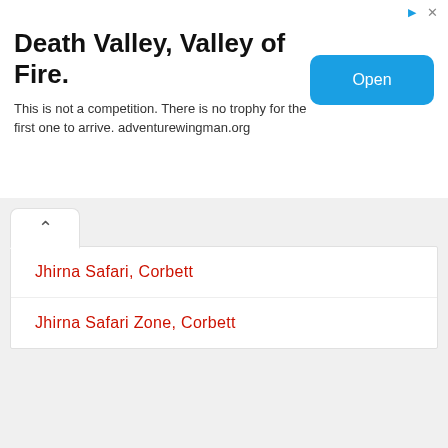[Figure (infographic): Advertisement banner with bold title 'Death Valley, Valley of Fire.' and subtitle text, with a blue Open button]
Death Valley, Valley of Fire.
This is not a competition. There is no trophy for the first one to arrive. adventurewingman.org
Jhirna Safari, Corbett
Jhirna Safari Zone, Corbett
Corbett Travel Guide
[Figure (photo): Photo of a tiger (Bengal/Indian tiger) facing the camera, with green foliage in the background]
Corbett
Corbett is one of the best hill station of Uttarakhand...........